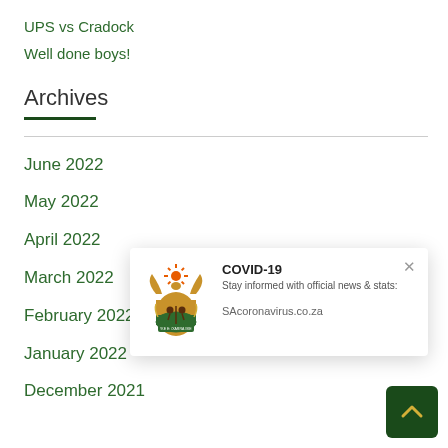UPS vs Cradock
Well done boys!
Archives
June 2022
May 2022
April 2022
March 2022
February 2022
January 2022
December 2021
[Figure (infographic): COVID-19 popup widget showing South African government coat of arms, title 'COVID-19', subtitle 'Stay informed with official news & stats:', and link 'SAcoronavirus.co.za' with a close (X) button]